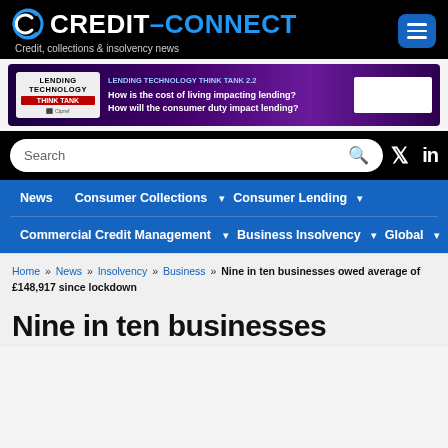[Figure (logo): Credit-Connect logo with circular C icon and tagline 'Credit, collections & insolvency news']
[Figure (infographic): Lending Technology Think Tank 2.2 banner ad with text about cost of living and consumer duty impact on lending]
Search | Navigation: News | Consumer Collections | Consumer Lending | Commercial Credit Management | Business Insolvency | Global
Home » News » Insolvency » Business » Nine in ten businesses owed average of £148,917 since lockdown
Nine in ten businesses